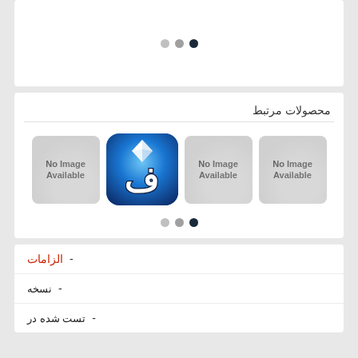[Figure (screenshot): Top white card with three navigation dots (light, medium, dark)]
محصولات مرتبط
[Figure (screenshot): Four product thumbnails: three 'No Image Available' gray placeholders and one blue logo with Persian letter fa (ف). Below are three navigation dots.]
| value | label |
| --- | --- |
| الزامات | - |
| نسخه | - |
| تست شده در | - |